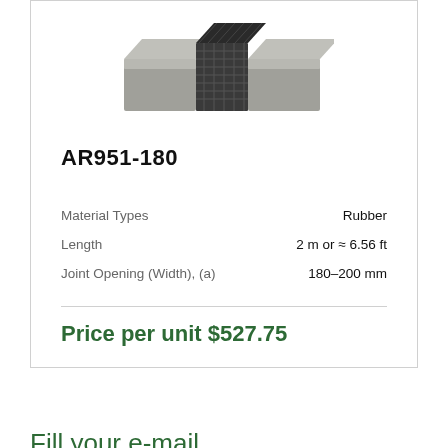[Figure (photo): Product photo of AR951-180 rubber expansion joint with concrete anchors, viewed at an angle from above.]
AR951-180
| Property | Value |
| --- | --- |
| Material Types | Rubber |
| Length | 2 m or ≈ 6.56 ft |
| Joint Opening (Width), (a) | 180–200 mm |
Price per unit $527.75
Fill your e-mail